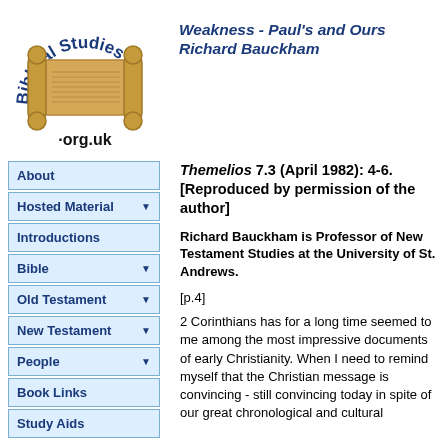[Figure (logo): Biblical Studies .org.uk logo with scroll graphic and arched text]
Weakness - Paul's and Ours
Richard Bauckham
About
Hosted Material ▼
Introductions
Bible ▼
Old Testament ▼
New Testament ▼
People ▼
Book Links
Study Aids
Themelios 7.3 (April 1982): 4-6. [Reproduced by permission of the author]
Richard Bauckham is Professor of New Testament Studies at the University of St. Andrews.
[p.4]
2 Corinthians has for a long time seemed to me among the most impressive documents of early Christianity. When I need to remind myself that the Christian message is convincing - still convincing today in spite of our great chronological and cultural